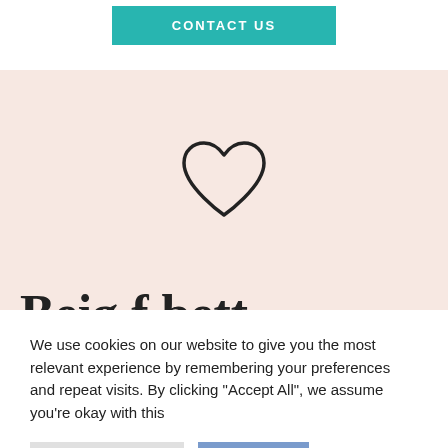[Figure (other): Teal/turquoise CONTACT US button at the top of the page]
[Figure (illustration): Pink/blush background section containing a heart outline icon in the center]
Beig f bett
We use cookies on our website to give you the most relevant experience by remembering your preferences and repeat visits. By clicking “Accept All”, we assume you’re okay with this
[Figure (other): Cookie Settings button (light gray) and Accept button (blue/periwinkle)]